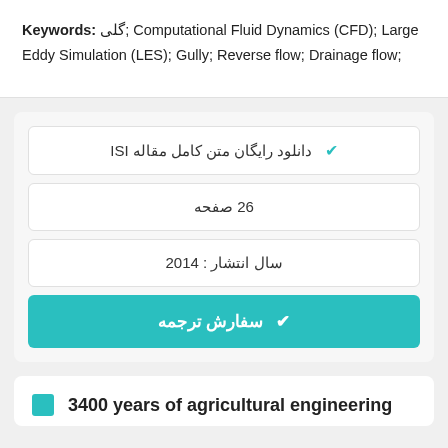Keywords: گلی; Computational Fluid Dynamics (CFD); Large Eddy Simulation (LES); Gully; Reverse flow; Drainage flow;
دانلود رایگان متن کامل مقاله ISI ✓
26 صفحه
سال انتشار : 2014
✓ سفارش ترجمه
3400 years of agricultural engineering